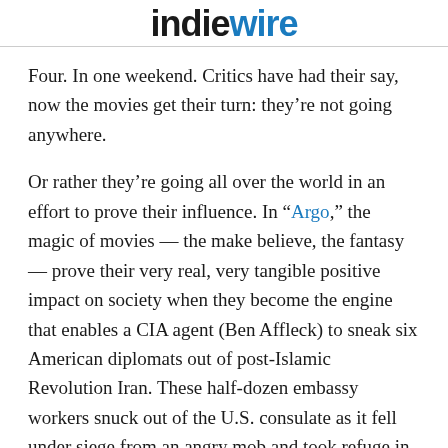IndieWire
Four. In one weekend. Critics have had their say, now the movies get their turn: they’re not going anywhere.
Or rather they’re going all over the world in an effort to prove their influence. In “Argo,” the magic of movies — the make believe, the fantasy — prove their very real, very tangible positive impact on society when they become the engine that enables a CIA agent (Ben Affleck) to sneak six American diplomats out of post-Islamic Revolution Iran. These half-dozen embassy workers snuck out of the U.S. consulate as it fell under siege from an angry mob and took refuge in the house of a Canadian ambassador. There, they waited, while Affleck’s Tony Mendez and his colleagues in the CIA and the Department of State try to think of some way to rescue these people without arousing suspicion. Could they pose as members of an organization hoping to fight hunger? Won’t work: not in the winter. How about